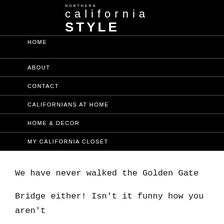NORTHERN california STYLE
HOME
ABOUT
CONTACT
CALIFORNIANS AT HOME
HOME & DECOR
MY CALIFORNIA CLOSET
We have never walked the Golden Gate Bridge either! Isn't it funny how you aren't always the best tourists in your own area. I am smitten with beeks as well. I found a